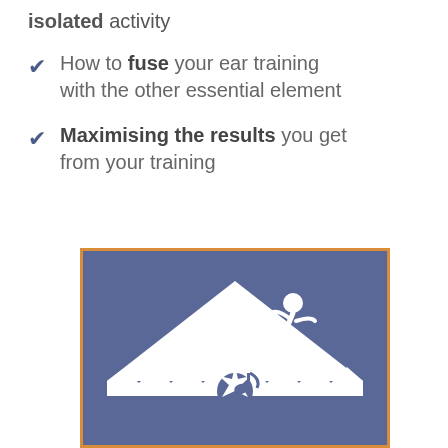isolated activity
How to fuse your ear training with the other essential element
Maximising the results you get from your training
[Figure (illustration): Blue square with orange border containing white diamond/triangle shape with jagged edges and white music note and dancing figure icons on blue background]